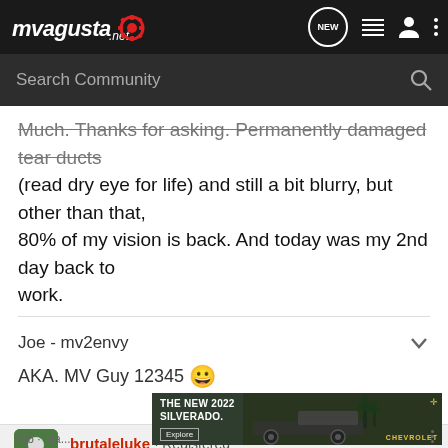mvagusta.net
Much. Thanks for asking. Permanently damaged tear ducts (read dry eye for life) and still a bit blurry, but other than that, 80% of my vision is back. And today was my 2nd day back to work.
Joe - mv2envy
AKA. MV Guy 12345 😀
brutaleluke · Registered
Joined Feb 21, 2010 · 1,355 Posts
[Figure (screenshot): Chevrolet Silverado 2022 advertisement banner with text 'THE NEW 2022 SILVERADO.' and an Explore button, showing a dark-colored truck]
#16 · Ma...